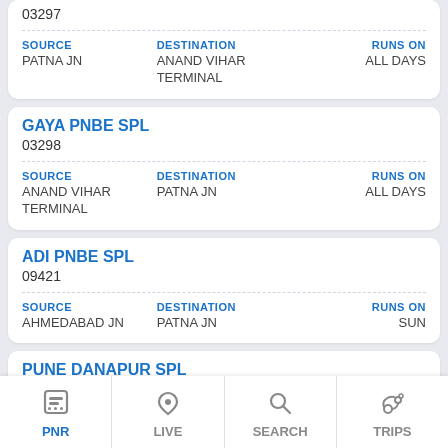03297
| SOURCE | DESTINATION | RUNS ON |
| --- | --- | --- |
| PATNA JN | ANAND VIHAR TERMINAL | ALL DAYS |
GAYA PNBE SPL
03298
| SOURCE | DESTINATION | RUNS ON |
| --- | --- | --- |
| ANAND VIHAR TERMINAL | PATNA JN | ALL DAYS |
ADI PNBE SPL
09421
| SOURCE | DESTINATION | RUNS ON |
| --- | --- | --- |
| AHMEDABAD JN | PATNA JN | SUN |
PUNE DANAPUR SPL
01123
| SOURCE | DESTINATION | RUNS ON |
| --- | --- | --- |
| LOKMANYATILAK T | RANCHI | THU |
PNR | LIVE | SEARCH | TRIPS